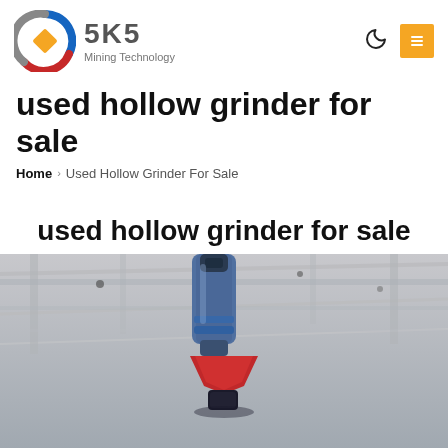SKS Mining Technology
used hollow grinder for sale
Home » Used Hollow Grinder For Sale
used hollow grinder for sale
[Figure (photo): Industrial grinder equipment photographed from below against warehouse ceiling with overhead structure visible. A blue cylindrical grinder with red/black component at bottom is shown.]